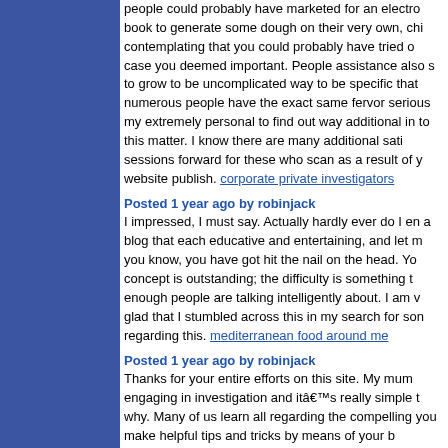people could probably have marketed for an electronic book to generate some dough on their very own, chis contemplating that you could probably have tried out in case you deemed important. People assistance also seems to grow to be uncomplicated way to be specific that numerous people have the exact same fervor serious my extremely personal to find out way additional in to this matter. I know there are many additional satisfying sessions forward for these who scan as a result of your website publish. corporate private investigators
Posted 1 year ago by robinjack
I impressed, I must say. Actually hardly ever do I encounter a blog that each educative and entertaining, and let me tell you know, you have got hit the nail on the head. Your concept is outstanding; the difficulty is something that not enough people are talking intelligently about. I am very glad that I stumbled across this in my search for something regarding this. mediterranean food around me
Posted 1 year ago by robinjack
Thanks for your entire efforts on this site. My mum enjoys engaging in investigation and itâ€™s really simple to understand why. Many of us learn all regarding the compelling means you make helpful tips and tricks by means of your blog and therefore improve contribution from others on the situation. No matter then my daughter is without a doubt becoming educated a whole lot. Have fun with the remaining portion of the new year. You are performing a splendid job. ë³€ê²½ì£¼ì†Œ
Posted 1 year ago by robinjack